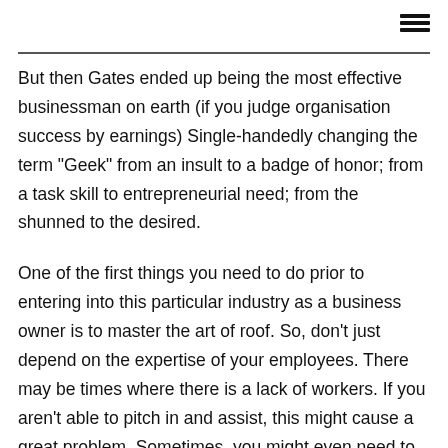But then Gates ended up being the most effective businessman on earth (if you judge organisation success by earnings) Single-handedly changing the term "Geek" from an insult to a badge of honor; from a task skill to entrepreneurial need; from the shunned to the desired.
One of the first things you need to do prior to entering into this particular industry as a business owner is to master the art of roof. So, don't just depend on the expertise of your employees. There may be times where there is a lack of workers. If you aren't able to pitch in and assist, this might cause a great problem. Sometimes, you might even need to deny jobs. Aside from the abovementioned reason, it's constantly an excellent concept to understand how to carry out the task on your own in case you need to encourage a few of your personnel. As the